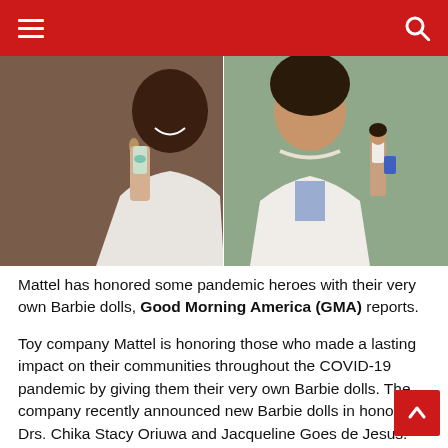Navigation bar with menu and search icons
[Figure (photo): Two side-by-side photos: left shows a Black woman in white clothing holding a Barbie doll dressed in a lab coat; right shows another woman in medical scrubs/white coat with a Barbie doll beside her.]
Mattel has honored some pandemic heroes with their very own Barbie dolls, Good Morning America (GMA) reports.
Toy company Mattel is honoring those who made a lasting impact on their communities throughout the COVID-19 pandemic by giving them their very own Barbie dolls. The company recently announced new Barbie dolls in honor of Drs. Chika Stacy Oriuwa and Jacqueline Goes de Jesus. The dolls are an extension of Mattel's #ThanYouHeroes program, which began last year as a way to honor those helping to fight the virus.
Dr. Oriuwa is a 27-year-old psychiatry resident at the